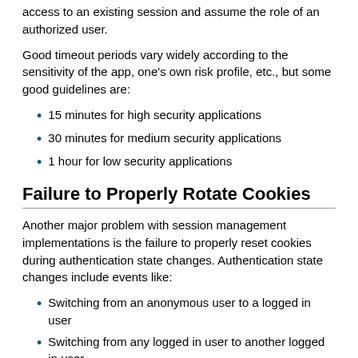access to an existing session and assume the role of an authorized user.
Good timeout periods vary widely according to the sensitivity of the app, one's own risk profile, etc., but some good guidelines are:
15 minutes for high security applications
30 minutes for medium security applications
1 hour for low security applications
Failure to Properly Rotate Cookies
Another major problem with session management implementations is the failure to properly reset cookies during authentication state changes. Authentication state changes include events like:
Switching from an anonymous user to a logged in user
Switching from any logged in user to another logged in user
Switching from a regular user to a privileged user
Timeouts
For each of these event types, it is critical that sessions are destroyed on the server side and that the cookies presented as